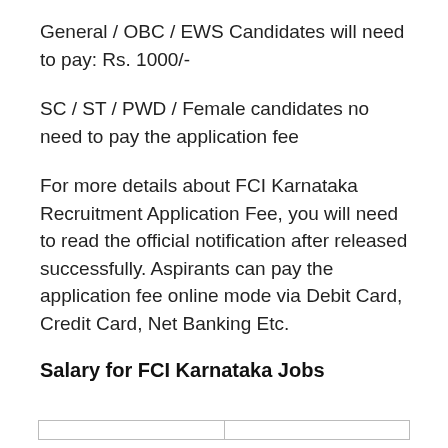General / OBC / EWS Candidates will need to pay: Rs. 1000/-
SC / ST / PWD / Female candidates no need to pay the application fee
For more details about FCI Karnataka Recruitment Application Fee, you will need to read the official notification after released successfully. Aspirants can pay the application fee online mode via Debit Card, Credit Card, Net Banking Etc.
Salary for FCI Karnataka Jobs